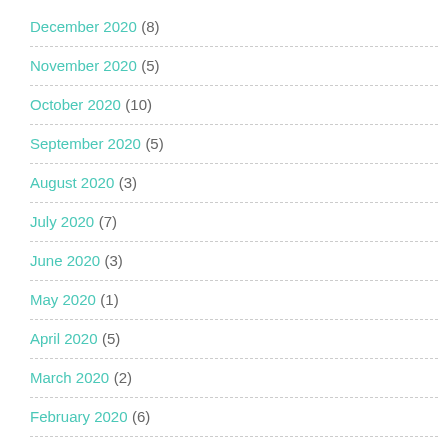December 2020 (8)
November 2020 (5)
October 2020 (10)
September 2020 (5)
August 2020 (3)
July 2020 (7)
June 2020 (3)
May 2020 (1)
April 2020 (5)
March 2020 (2)
February 2020 (6)
January 2020 (10)